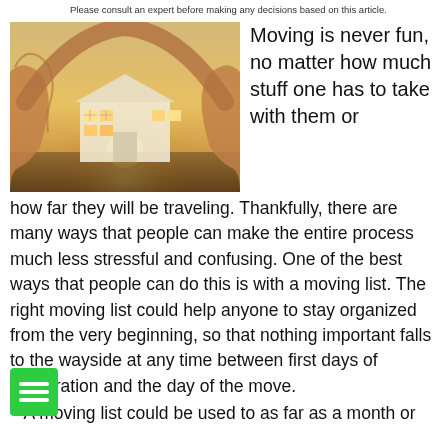Please consult an expert before making any decisions based on this article.
[Figure (photo): Two hands forming a house shape with fingers, holding a paper cutout of a house with windows, backlit by a sunset over a beach.]
Moving is never fun, no matter how much stuff one has to take with them or how far they will be traveling. Thankfully, there are many ways that people can make the entire process much less stressful and confusing. One of the best ways that people can do this is with a moving list. The right moving list could help anyone to stay organized from the very beginning, so that nothing important falls to the wayside at any time between first days of preparation and the day of the move.
A moving list could be used to as far as a month or